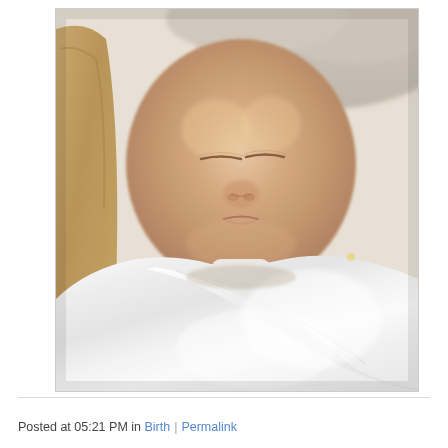[Figure (photo): Close-up photograph of a sleeping newborn baby swaddled tightly in a white hospital blanket, eyes closed, resting in what appears to be a beige padded chair or rocker with a fluffy background visible at the top.]
Posted at 05:21 PM in Birth | Permalink